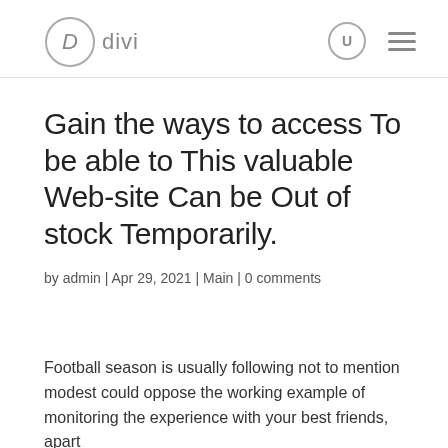divi
Gain the ways to access To be able to This valuable Web-site Can be Out of stock Temporarily.
by admin | Apr 29, 2021 | Main | 0 comments
Football season is usually following not to mention modest could oppose the working example of monitoring the experience with your best friends, apart